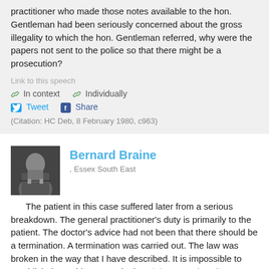practitioner who made those notes available to the hon. Gentleman had been seriously concerned about the gross illegality to which the hon. Gentleman referred, why were the papers not sent to the police so that there might be a prosecution?
Link to this speech
In context  Individually
Tweet  Share
(Citation: HC Deb, 8 February 1980, c963)
[Figure (photo): Black and white photo of Bernard Braine speaking at a podium]
Bernard Braine
, Essex South East
The patient in this case suffered later from a serious breakdown. The general practitioner's duty is primarily to the patient. The doctor's advice had not been that there should be a termination. A termination was carried out. The law was broken in the way that I have described. It is impossible to establish these things save in the High Court of Parliament, where there is a degree of privilege. We are talking here about a matter of life and death. Legal niceties of the kind that the hon. Gentleman has mentioned do not impress me, and I do not think